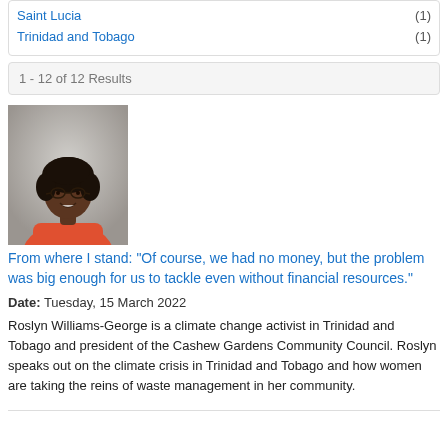Saint Lucia (1)
Trinidad and Tobago (1)
1 - 12 of 12 Results
[Figure (photo): Portrait photo of Roslyn Williams-George, a woman wearing glasses and a coral/red top, smiling, against a light grey background.]
From where I stand: "Of course, we had no money, but the problem was big enough for us to tackle even without financial resources."
Date: Tuesday, 15 March 2022
Roslyn Williams-George is a climate change activist in Trinidad and Tobago and president of the Cashew Gardens Community Council. Roslyn speaks out on the climate crisis in Trinidad and Tobago and how women are taking the reins of waste management in her community.